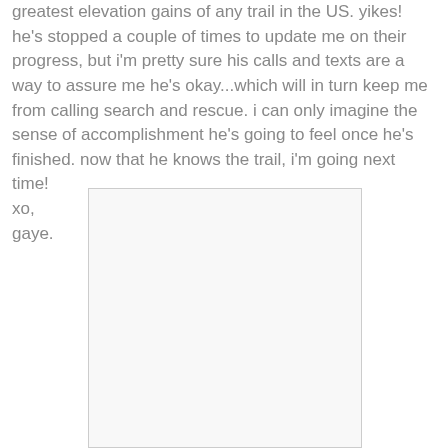greatest elevation gains of any trail in the US. yikes! he's stopped a couple of times to update me on their progress, but i'm pretty sure his calls and texts are a way to assure me he's okay...which will in turn keep me from calling search and rescue. i can only imagine the sense of accomplishment he's going to feel once he's finished. now that he knows the trail, i'm going next time!
xo,
gaye.
[Figure (photo): A white/blank photo placeholder with a light border, positioned below the text block.]